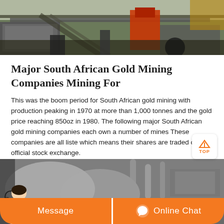[Figure (photo): Industrial mining equipment and machinery at a mining site, viewed from above]
Major South African Gold Mining Companies Mining For
This was the boom period for South African gold mining with production peaking in 1970 at more than 1,000 tonnes and the gold price reaching 850oz in 1980. The following major South African gold mining companies each own a number of mines These companies are all liste which means their shares are traded on an official stock exchange.
[Figure (photo): Industrial mining processing equipment indoors, large curved metal containers or tanks in a mining facility]